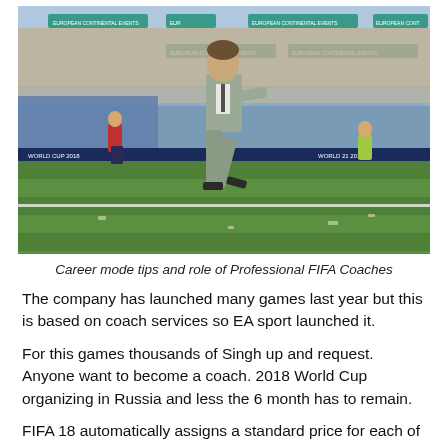[Figure (photo): A man in a grey suit walking on the sideline of a football pitch in a stadium filled with spectators. The scene appears to be from a FIFA video game (career mode), with stadium banners visible in the background.]
Career mode tips and role of Professional FIFA Coaches
The company has launched many games last year but this is based on coach services so EA sport launched it.
For this games thousands of Singh up and request. Anyone want to become a coach. 2018 World Cup organizing in Russia and less the 6 month has to remain.
FIFA 18 automatically assigns a standard price for each of